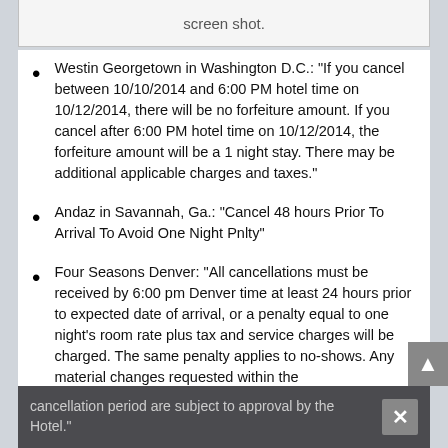[Figure (screenshot): Partial screenshot box showing bottom edge with text 'screen shot.']
Westin Georgetown in Washington D.C.: “If you cancel between 10/10/2014 and 6:00 PM hotel time on 10/12/2014, there will be no forfeiture amount. If you cancel after 6:00 PM hotel time on 10/12/2014, the forfeiture amount will be a 1 night stay. There may be additional applicable charges and taxes.”
Andaz in Savannah, Ga.: “Cancel 48 hours Prior To Arrival To Avoid One Night Pnlty”
Four Seasons Denver: “All cancellations must be received by 6:00 pm Denver time at least 24 hours prior to expected date of arrival, or a penalty equal to one night’s room rate plus tax and service charges will be charged. The same penalty applies to no-shows. Any material changes requested within the cancellation period are subject to approval by the Hotel.”